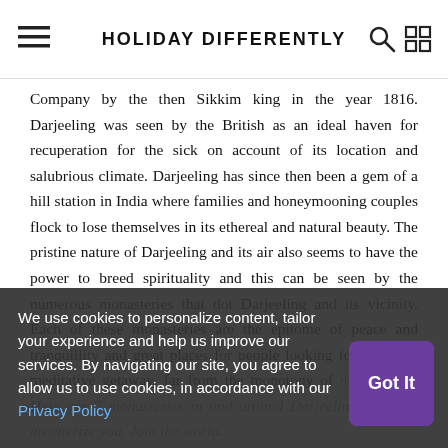HOLIDAY DIFFERENTLY
Company by the then Sikkim king in the year 1816. Darjeeling was seen by the British as an ideal haven for recuperation for the sick on account of its location and salubrious climate. Darjeeling has since then been a gem of a hill station in India where families and honeymooning couples flock to lose themselves in its ethereal and natural beauty. The pristine nature of Darjeeling and its air also seems to have the power to breed spirituality and this can be seen by the numerous monasteries that dot Darjeeling and its vicinity. Each of these monasteries are the epitome of peace and tranquillity and great places for people looking forward to a meditative getaway, far from the monotony of materialism. Here are 7 monasteries in and around Darjeeling that will mesmerize you. Join the world.
Old Ghum Monastery
We use cookies to personalize content, tailor your experience and help us improve our services. By navigating our site, you agree to allow us to use cookies, in accordance with our Privacy Policy